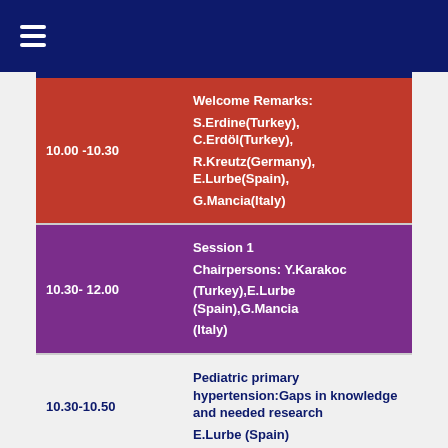☰
| Time | Event |
| --- | --- |
| 10.00 -10.30 | Welcome Remarks: S.Erdine(Turkey), C.Erdöl(Turkey), R.Kreutz(Germany), E.Lurbe(Spain), G.Mancia(Italy) |
| 10.30- 12.00 | Session 1
Chairpersons: Y.Karakoc (Turkey),E.Lurbe (Spain),G.Mancia (Italy) |
| 10.30-10.50 | Pediatric primary hypertension:Gaps in knowledge and needed research
E.Lurbe (Spain) |
| 10.50-11.10 | ABPM in Pediatric Hypertension - Circadian BP Rhythm
E.Wühl ( Germany) |
| 11.10-11.30 | Carotid Intima-Media Thickness in adolescence and young adulthood: The |